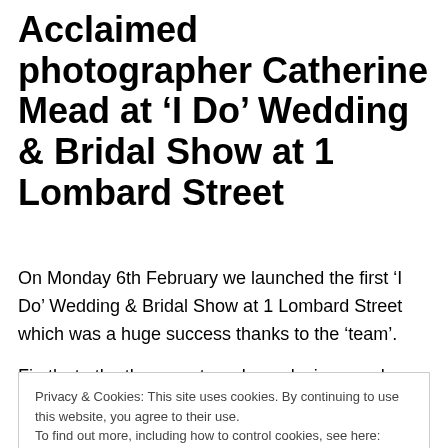Acclaimed photographer Catherine Mead at 'I Do' Wedding & Bridal Show at 1 Lombard Street
On Monday 6th February we launched the first 'I Do' Wedding & Bridal Show at 1 Lombard Street which was a huge success thanks to the 'team'.
Firstly, to the three couture dress designers who made it happen.   Lise Herud headed up the team for the Fashion
Privacy & Cookies: This site uses cookies. By continuing to use this website, you agree to their use.
To find out more, including how to control cookies, see here: Cookie Policy
friend over the past 18 months thanks to Ellis Sandersen